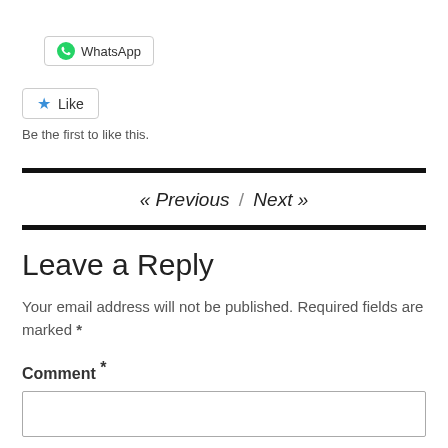[Figure (other): WhatsApp share button with WhatsApp logo icon]
[Figure (other): Like button with blue star icon]
Be the first to like this.
« Previous / Next »
Leave a Reply
Your email address will not be published. Required fields are marked *
Comment *
[Figure (other): Comment text area input box]